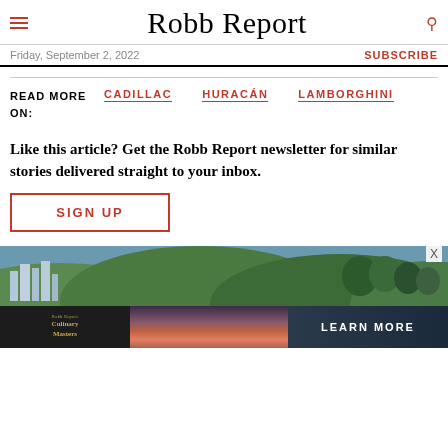Robb Report
Friday, September 2, 2022 | SUBSCRIBE
READ MORE ON: CADILLAC  HURACÁN  LAMBORGHINI
Like this article? Get the Robb Report newsletter for similar stories delivered straight to your inbox.
SIGN UP
[Figure (photo): Advertisement banner showing landscape with city and green hills, with Culinary Masters ad and LEARN MORE button]